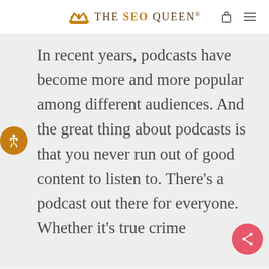THE SEO QUEEN®
In recent years, podcasts have become more and more popular among different audiences. And the great thing about podcasts is that you never run out of good content to listen to. There's a podcast out there for everyone. Whether it's true crime podcasts, or motivational ones...